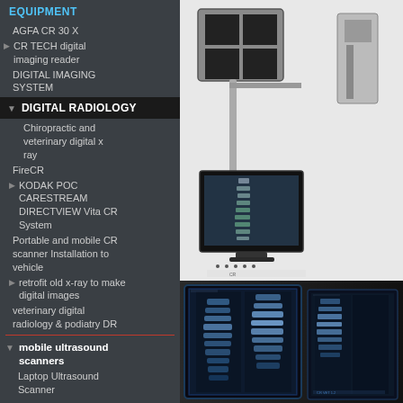EQUIPMENT
AGFA CR 30 X
CR TECH digital imaging reader
DIGITAL IMAGING SYSTEM
DIGITAL RADIOLOGY
Chiropractic and veterinary digital x ray
FireCR
KODAK POC CARESTREAM DIRECTVIEW Vita CR System
Portable and mobile CR scanner Installation to vehicle
retrofit old x-ray to make digital images
veterinary digital radiology & podiatry DR
mobile ultrasound scanners
Laptop Ultrasound Scanner
[Figure (photo): X-ray machine equipment — wall-mounted CR unit with a monitor displaying a spinal x-ray image]
[Figure (photo): Digital radiology display screens showing spinal x-ray images in a dark clinical environment]